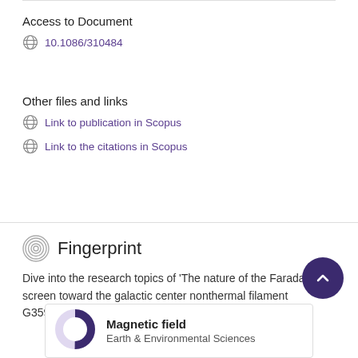Access to Document
10.1086/310484
Other files and links
Link to publication in Scopus
Link to the citations in Scopus
Fingerprint
Dive into the research topics of 'The nature of the Faraday screen toward the galactic center nonthermal filament G359.54+0.18'. Together they form a unique fingerprint.
Magnetic field
Earth & Environmental Sciences